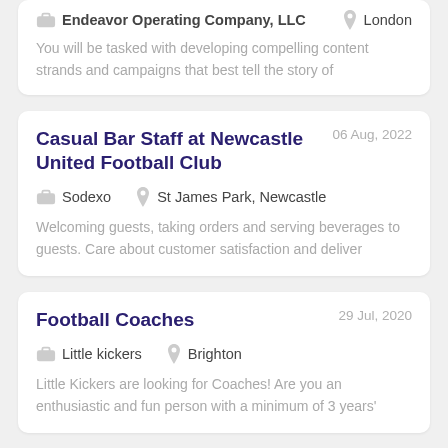Endeavor Operating Company, LLC — London
You will be tasked with developing compelling content strands and campaigns that best tell the story of
Casual Bar Staff at Newcastle United Football Club
06 Aug, 2022
Sodexo — St James Park, Newcastle
Welcoming guests, taking orders and serving beverages to guests. Care about customer satisfaction and deliver
Football Coaches
29 Jul, 2020
Little kickers — Brighton
Little Kickers are looking for Coaches! Are you an enthusiastic and fun person with a minimum of 3 years'